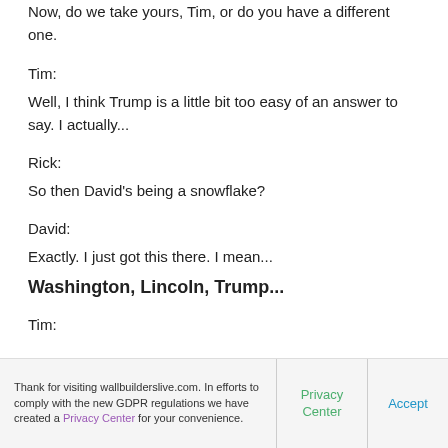Now, do we take yours, Tim, or do you have a different one.
Tim:
Well, I think Trump is a little bit too easy of an answer to say. I actually...
Rick:
So then David's being a snowflake?
David:
Exactly. I just got this there. I mean...
Washington, Lincoln, Trump...
Tim:
Thank for visiting wallbuilderslive.com. In efforts to comply with the new GDPR regulations we have created a Privacy Center for your convenience.